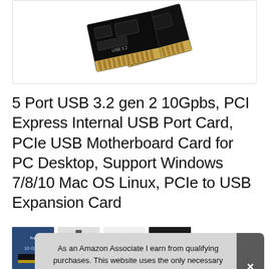[Figure (photo): Product image showing PCIe USB expansion cards — two black PCIe cards with gold edge connectors against a white background]
5 Port USB 3.2 gen 2 10Gpbs, PCI Express Internal USB Port Card, PCIe USB Motherboard Card for PC Desktop, Support Windows 7/8/10 Mac OS Linux, PCIe to USB Expansion Card
#ad
[Figure (photo): Row of small product thumbnail images at the bottom of the page]
As an Amazon Associate I earn from qualifying purchases. This website uses the only necessary cookies to ensure you get the best experience on our website. More information